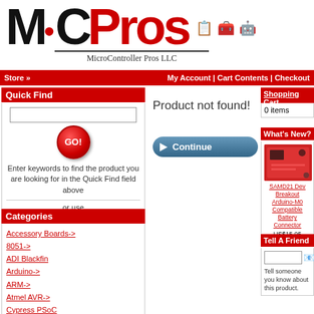[Figure (logo): MicroController Pros LLC logo with MC stylized text and red dot, plus tagline]
Store » | My Account | Cart Contents | Checkout
Quick Find
Enter keywords to find the product you are looking for in the Quick Find field above
or use Advanced Search
Categories
Accessory Boards->
8051->
ADI Blackfin
Arduino->
ARM->
Atmel AVR->
Cypress PSoC
Freescale->
Product not found!
Continue
Shopping Cart
0 items
What's New?
[Figure (photo): Red SAMD21 Dev Breakout Arduino-M0 Compatible circuit board with Battery Connector]
SAMD21 Dev Breakout Arduino-M0 Compatible Battery Connector US$15.95
Tell A Friend
Tell someone you know about this product.